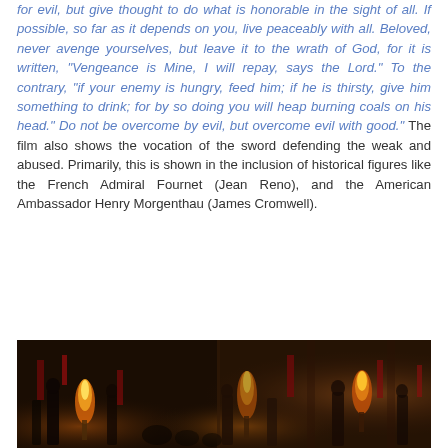for evil, but give thought to do what is honorable in the sight of all. If possible, so far as it depends on you, live peaceably with all. Beloved, never avenge yourselves, but leave it to the wrath of God, for it is written, "Vengeance is Mine, I will repay, says the Lord." To the contrary, "if your enemy is hungry, feed him; if he is thirsty, give him something to drink; for by so doing you will heap burning coals on his head." Do not be overcome by evil, but overcome evil with good." The film also shows the vocation of the sword defending the weak and abused. Primarily, this is shown in the inclusion of historical figures like the French Admiral Fournet (Jean Reno), and the American Ambassador Henry Morgenthau (James Cromwell).
[Figure (photo): A dark scene showing people with torches and red flags, appears to be a historical or cinematic nighttime gathering in an arched building or arcade.]